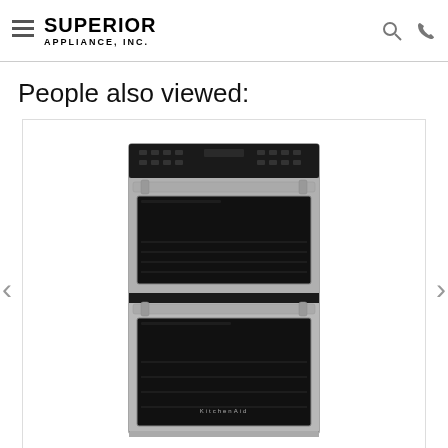Superior Appliance, Inc.
People also viewed:
[Figure (photo): KitchenAid stainless steel combination wall oven with microwave on top and conventional oven on bottom, shown in a product listing carousel with left/right navigation arrows]